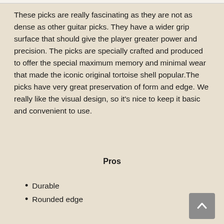These picks are really fascinating as they are not as dense as other guitar picks. They have a wider grip surface that should give the player greater power and precision. The picks are specially crafted and produced to offer the special maximum memory and minimal wear that made the iconic original tortoise shell popular.The picks have very great preservation of form and edge. We really like the visual design, so it's nice to keep it basic and convenient to use.
Pros
Durable
Rounded edge